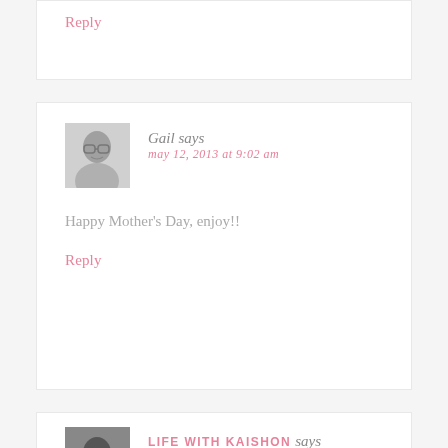Reply
[Figure (photo): Black and white avatar photo of Gail, a woman wearing glasses, smiling]
Gail says
may 12, 2013 at 9:02 am
Happy Mother's Day, enjoy!!
Reply
[Figure (photo): Black and white avatar photo of Life with Kaishon]
LIFE WITH KAISHON says
may 12, 2013 at 9:04 am
Happy Mother's day to you Stefanie. I love